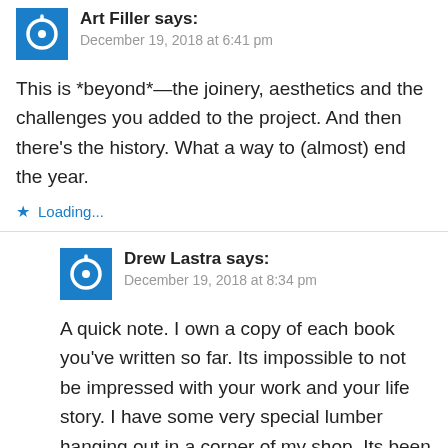Art Filler says:
December 19, 2018 at 6:41 pm
This is *beyond*—the joinery, aesthetics and the challenges you added to the project. And then there's the history. What a way to (almost) end the year.
Loading...
Drew Lastra says:
December 19, 2018 at 8:34 pm
A quick note. I own a copy of each book you've written so far. Its impossible to not be impressed with your work and your life story. I have some very special lumber hanging out in a corner of my shop. Its been there for about three years. Every